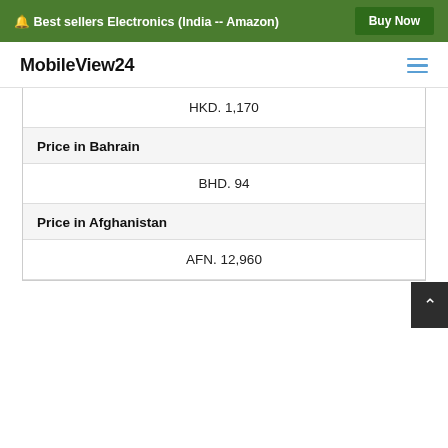🔔 Best sellers Electronics (India -- Amazon) Buy Now
MobileView24
| HKD. 1,170 |
| Price in Bahrain |
| BHD. 94 |
| Price in Afghanistan |
| AFN. 12,960 |